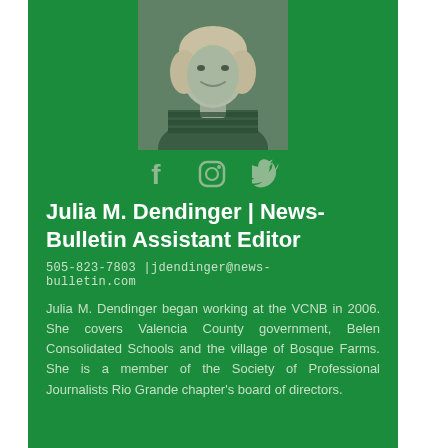[Figure (photo): Black and white headshot photo of Julia M. Dendinger, a woman with light hair, smiling, wearing a patterned top]
[Figure (infographic): Social media icons: Facebook (f), Instagram (camera), Twitter (bird)]
Julia M. Dendinger | News-Bulletin Assistant Editor
505-823-7803 |jdendinger@news-bulletin.com
Julia M. Dendinger began working at the VCNB in 2006. She covers Valencia County government, Belen Consolidated Schools and the village of Bosque Farms. She is a member of the Society of Professional Journalists Rio Grande chapter's board of directors.